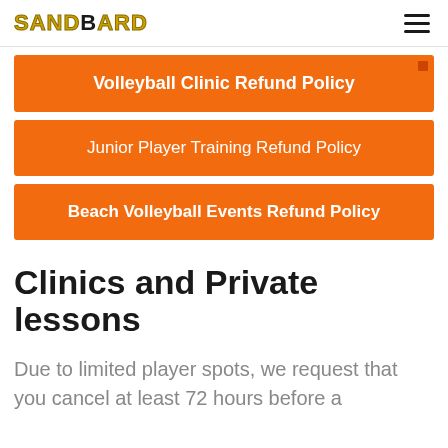SANDYARD
Volleyball Clinic Refund Policy
Junior Player Training Refund Policy
Beach Volleyball Events Refund Policy
Clinics and Private lessons
Due to limited player spots, we request that you cancel at least 72 hours before a